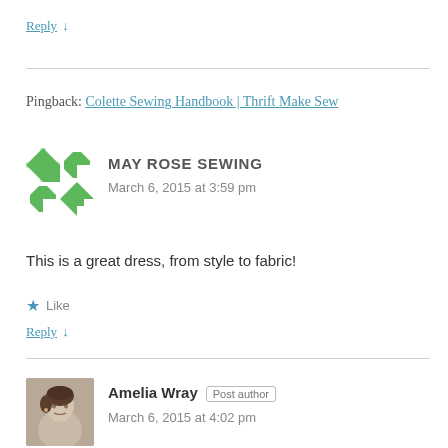Reply ↓
Pingback: Colette Sewing Handbook | Thrift Make Sew
[Figure (illustration): Green and white geometric quilt pattern avatar for May Rose Sewing]
MAY ROSE SEWING
March 6, 2015 at 3:59 pm
This is a great dress, from style to fabric!
★ Like
Reply ↓
[Figure (photo): Profile photo of Amelia Wray, a woman with short dark hair]
Amelia Wray Post author
March 6, 2015 at 4:02 pm